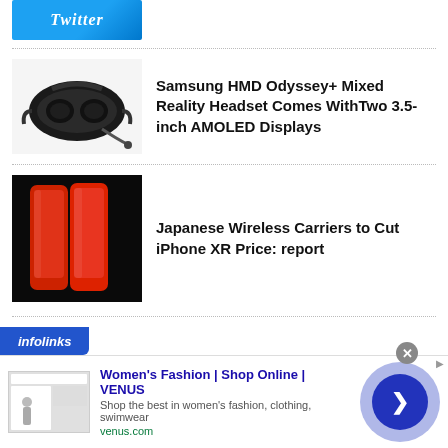[Figure (photo): Partial Twitter logo image at top of page, blue background]
[Figure (photo): Samsung HMD Odyssey+ VR/Mixed Reality headset in black]
Samsung HMD Odyssey+ Mixed Reality Headset Comes WithTwo 3.5-inch AMOLED Displays
[Figure (photo): iPhone XR in red/coral color against dark background]
Japanese Wireless Carriers to Cut iPhone XR Price: report
[Figure (screenshot): Infolinks advertisement banner: Women's Fashion | Shop Online | VENUS - Shop the best in women's fashion, clothing, swimwear - venus.com]